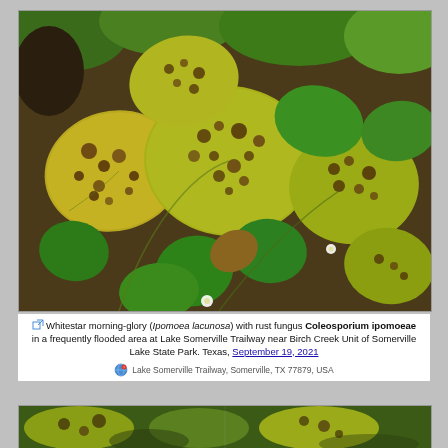[Figure (photo): Close-up photo of Whitestar morning-glory (Ipomoea lacunosa) leaves heavily infected with rust fungus Coleosporium ipomoeae, showing heart-shaped leaves with yellow-green coloration and dark brown rust spots, photographed at Lake Somerville Trailway, Texas.]
Whitestar morning-glory (Ipomoea lacunosa) with rust fungus Coleosporium ipomoeae in a frequently flooded area at Lake Somerville Trailway near Birch Creek Unit of Somerville Lake State Park. Texas, September 19, 2021
Lake Somerville Trailway, Somerville, TX 77879, USA
[Figure (photo): Partial bottom photo showing similar morning-glory leaves with rust fungus infection, cropped at page bottom.]